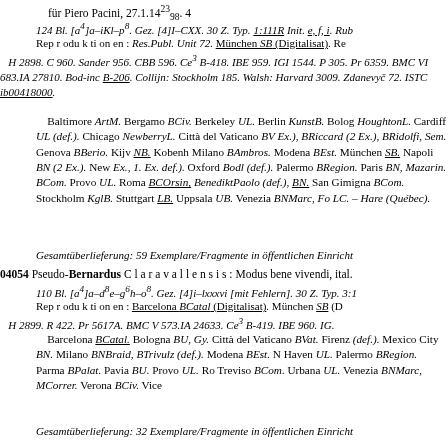für Piero Pacini, 27.1.14. 4
124 Bl. [a⁴]a–iKl–p⁸. Gez. [4]I–CXX. 30 Z. Typ. 1:111R Init. e, f, i. Rub
Reproduktionen: Res.Publ. Unit 72. München SB (Digitalisat). Re
H 2898. C 960. Sander 956. CBB 596. Ce³ B-418. IBE 959. IGI 1544. P 305. Pr 6359. BMC VI 683.IA 27810. Bod-inc B-206. Collijn: Stockholm 185. Walsh: Harvard 3009. Zdanevyč 72. ISTC ib00418000.
Baltimore ArtM. Bergamo BCiv. Berkeley UL. Berlin KunstB. Bolog HoughtonL. Cardiff UL (def.). Chicago NewberryL. Città del Vaticano BV Ex.), BRiccard (2 Ex.), BRidolfi, Sem. Genova BBerio. Kijv NB. Kobenh Milano BAmbros. Modena BEst. München SB. Napoli BN (2 Ex.). New Ex., 1. Ex. def.). Oxford Bodl (def.). Palermo BRegion. Paris BN, Mazarin. BCom. Provo UL. Roma BCOrsin, BenediktPaolo (def.), BN. San Gimigna BCom. Stockholm KglB. Stuttgart LB. Uppsala UB. Venezia BNMarc, Fo LC. – Hare (Québec).
Gesamtüberlieferung: 59 Exemplare/Fragmente in öffentlichen Einricht
04054 Pseudo-Bernardus Claravallensis: Modus bene vivendi, ital.
110 Bl. [a⁴]a–d⁸e–g⁶h–o⁸. Gez. [4]i–lxxxvi [mit Fehlern]. 30 Z. Typ. 3:1
Reproduktionen: Barcelona BCatal (Digitalisat). München SB (D
H 2899. R 422. Pr 5617A. BMC V 573.IA 24633. Ce³ B-419. IBE 960. IG.
Barcelona BCatal. Bologna BU, Gy. Città del Vaticano BVat. Firenz (def.). Mexico City BN. Milano BNBraid, BTrivulz (def.). Modena BEst. N Haven UL. Palermo BRegion. Parma BPalat. Pavia BU. Provo UL. Ro Treviso BCom. Urbana UL. Venezia BNMarc, MCorrer. Verona BCiv. Vice
Gesamtüberlieferung: 32 Exemplare/Fragmente in öffentlichen Einricht